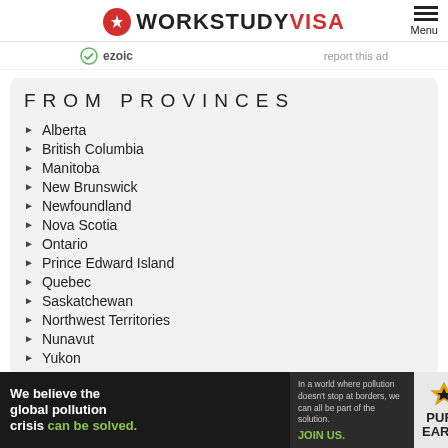WORKSTUDY VISA
ezoic   report this ad
FROM PROVINCES
Alberta
British Columbia
Manitoba
New Brunswick
Newfoundland
Nova Scotia
Ontario
Prince Edward Island
Quebec
Saskatchewan
Northwest Territories
Nunavut
Yukon
[Figure (infographic): Pure Earth advertisement banner: 'We believe the global pollution crisis can be solved. In a world where pollution doesn't stop at borders, we can all be part of the solution. JOIN US.' with Pure Earth logo]